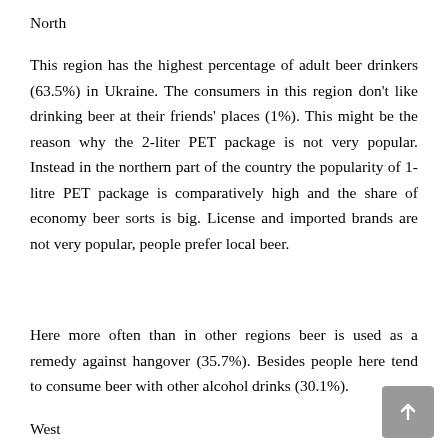North
This region has the highest percentage of adult beer drinkers (63.5%) in Ukraine. The consumers in this region don't like drinking beer at their friends' places (1%). This might be the reason why the 2-liter PET package is not very popular. Instead in the northern part of the country the popularity of 1-litre PET package is comparatively high and the share of economy beer sorts is big. License and imported brands are not very popular, people prefer local beer.
Here more often than in other regions beer is used as a remedy against hangover (35.7%). Besides people here tend to consume beer with other alcohol drinks (30.1%).
West